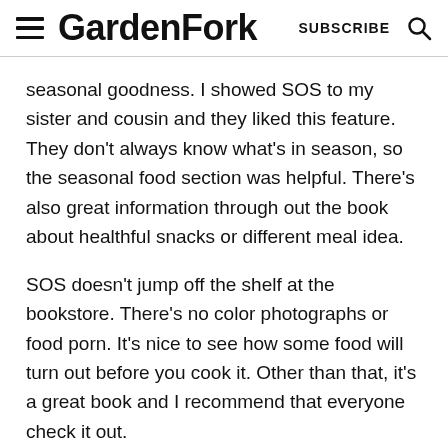GardenFork  SUBSCRIBE
seasonal goodness. I showed SOS to my sister and cousin and they liked this feature. They don't always know what's in season, so the seasonal food section was helpful. There's also great information through out the book about healthful snacks or different meal idea.
SOS doesn't jump off the shelf at the bookstore. There's no color photographs or food porn. It's nice to see how some food will turn out before you cook it. Other than that, it's a great book and I recommend that everyone check it out.